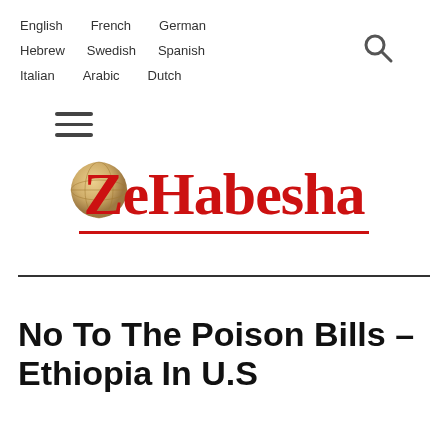English  French  German  Hebrew  Swedish  Spanish  Italian  Arabic  Dutch
[Figure (logo): ZeHabesha website logo with globe icon and red text]
No To The Poison Bills – Ethiopia In U.S.